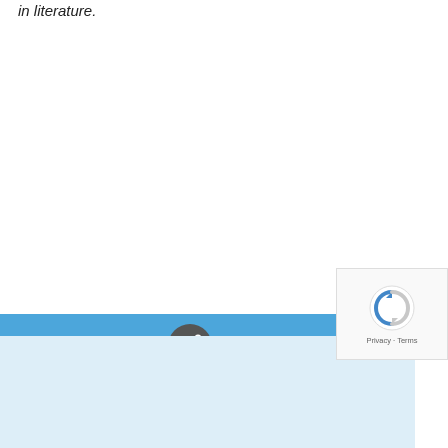in literature.
Subject: She
[Figure (other): Blue navigation bar with share button icon and light blue footer area, with reCAPTCHA overlay in bottom right corner]